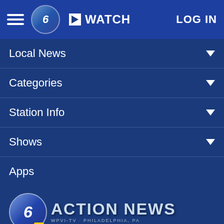6abc Action News - WATCH - LOG IN
Local News
Categories
Station Info
Shows
Apps
[Figure (logo): 6 ABC Action News logo - WPVI-TV Philadelphia, PA]
Follow Us:
[Figure (infographic): Social media icons: Facebook, Twitter, Instagram, Email]
Privacy Policy
Do Not Sell My Personal Information
Children's Privacy Policy
Your California Privacy Rights · Terms of Use